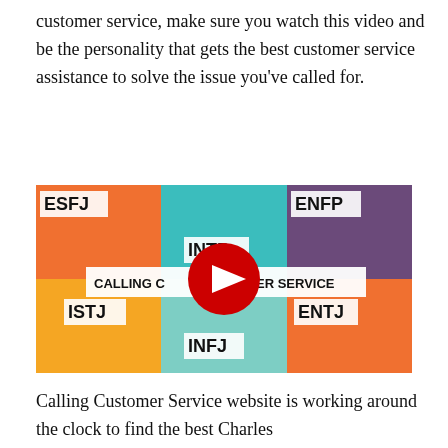customer service, make sure you watch this video and be the personality that gets the best customer service assistance to solve the issue you've called for.
[Figure (screenshot): YouTube video thumbnail showing 6 panels of a man with different MBTI personality types (ESFJ, INTP, ENFP, ISTJ, INFJ, ENTJ) calling customer service, with a red YouTube play button in the center and text 'CALLING CUSTOMER SERVICE']
Calling Customer Service website is working around the clock to find the best Charles